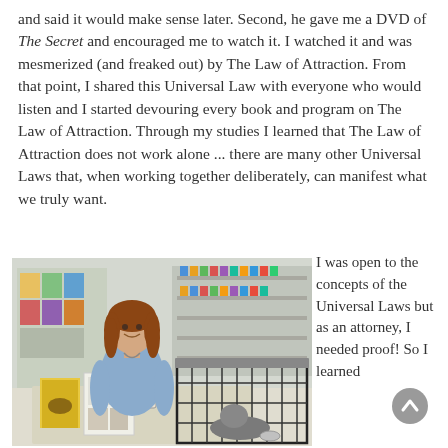and said it would make sense later. Second, he gave me a DVD of The Secret and encouraged me to watch it. I watched it and was mesmerized (and freaked out) by The Law of Attraction. From that point, I shared this Universal Law with everyone who would listen and I started devouring every book and program on The Law of Attraction. Through my studies I learned that The Law of Attraction does not work alone ... there are many other Universal Laws that, when working together deliberately, can manifest what we truly want.
[Figure (photo): A woman with reddish-brown hair in a blue top sitting behind a table in a pet store or similar retail environment. On the table are books and display materials. Next to her is a large wire animal crate/cage. Behind her are shelves with products.]
I was open to the concepts of the Universal Laws but as an attorney, I needed proof! So I learned